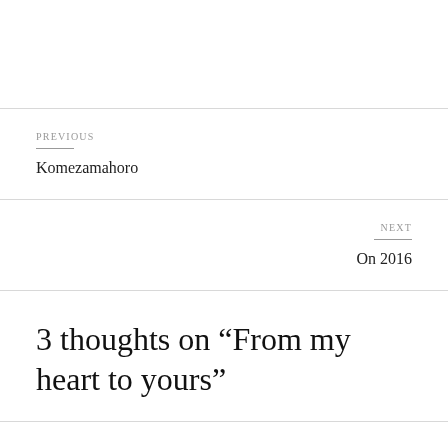PREVIOUS
Komezamahoro
NEXT
On 2016
3 thoughts on “From my heart to yours”